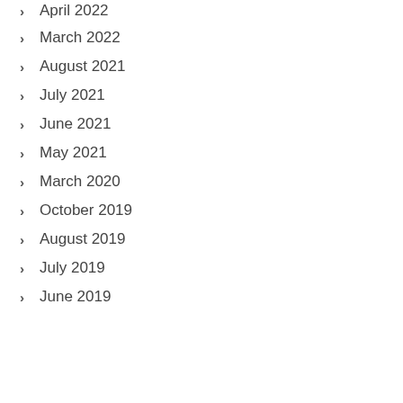April 2022
March 2022
August 2021
July 2021
June 2021
May 2021
March 2020
October 2019
August 2019
July 2019
June 2019